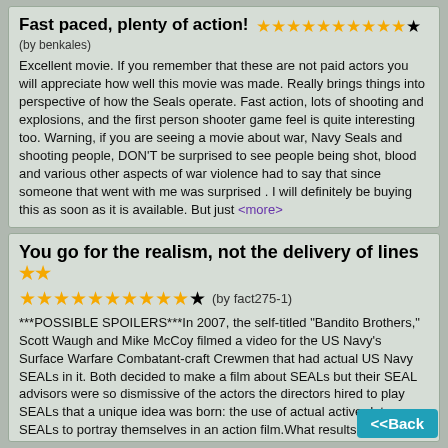Fast paced, plenty of action!
(by benkales)
Excellent movie. If you remember that these are not paid actors you will appreciate how well this movie was made. Really brings things into perspective of how the Seals operate. Fast action, lots of shooting and explosions, and the first person shooter game feel is quite interesting too. Warning, if you are seeing a movie about war, Navy Seals and shooting people, DON'T be surprised to see people being shot, blood and various other aspects of war violence had to say that since someone that went with me was surprised . I will definitely be buying this as soon as it is available. But just <more>
You go for the realism, not the delivery of lines
(by fact275-1)
***POSSIBLE SPOILERS***In 2007, the self-titled "Bandito Brothers," Scott Waugh and Mike McCoy filmed a video for the US Navy's Surface Warfare Combatant-craft Crewmen that had actual US Navy SEALs in it. Both decided to make a film about SEALs but their SEAL advisors were so dismissive of the actors the directors hired to play SEALs that a unique idea was born: the use of actual active duty SEALs to portray themselves in an action film.What results is unprecedented cooperation between the Department of Defense and a motion picture--going even further than Black Hawk Down's <more>